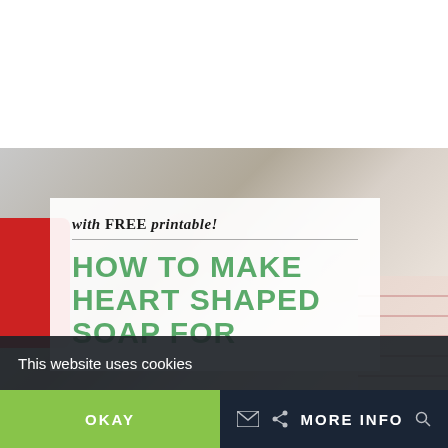[Figure (photo): Website screenshot showing a blog article page. Top portion is white background. Lower portion shows a photo of heart-shaped soap items with a red cup on the left, decorative wrapping paper on lower right, and a gray/beige blurred background. Over the photo is a white semi-transparent card with italic subtitle text 'with FREE printable!' followed by a horizontal rule and large green uppercase title text 'HOW TO MAKE HEART SHAPED SOAP FOR'. At the very bottom of the photo in gray watermark style text is 'VALENTINES DAY'. A dark cookie consent bar overlays the bottom of the image with text 'This website uses cookies' and two buttons: green 'OKAY' on left and dark 'MORE INFO' on right.]
with FREE printable!
HOW TO MAKE HEART SHAPED SOAP FOR
This website uses cookies
OKAY
MORE INFO